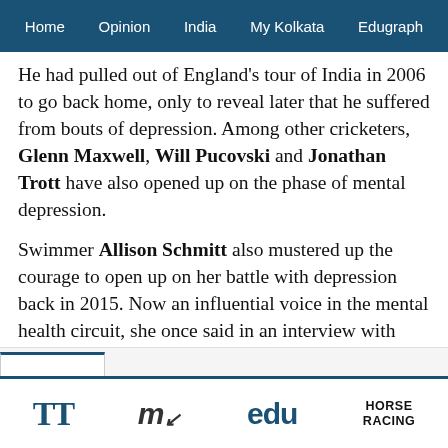Home  Opinion  India  My Kolkata  Edugraph
He had pulled out of England's tour of India in 2006 to go back home, only to reveal later that he suffered from bouts of depression. Among other cricketers, Glenn Maxwell, Will Pucovski and Jonathan Trott have also opened up on the phase of mental depression.
Swimmer Allison Schmitt also mustered up the courage to open up on her battle with depression back in 2015. Now an influential voice in the mental health circuit, she once said in an interview with Women's Health, “Being vulnerable is not weakness. It shows you are strong enough to know that life is sometimes hard for you to handle and you need support.”
TT  my  edu  HORSE RACING